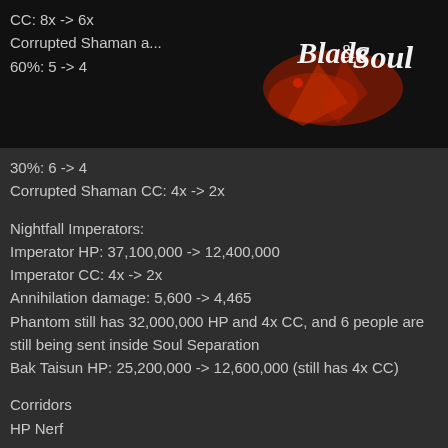CC: 8x -> 6x
Corrupted Shaman a...
60%: 5 -> 4
[Figure (logo): Blade & Soul game logo in white stylized text on dark background with red flame/splash graphic]
30%: 6 -> 4
Corrupted Shaman CC: 4x -> 2x
Nightfall Imperators:
Imperator HP: 37,100,000 -> 12,400,000
Imperator CC: 4x -> 2x
Annihilation damage: 5,600 -> 4,465
Phantom still has 32,000,000 HP and 4x CC, and 6 people are still being sent inside Soul Separation
Bak Taisun HP: 25,200,000 -> 12,600,000 (still has 4x CC)
Corridors
HP Nerf
Generals Moyun and Shuna: